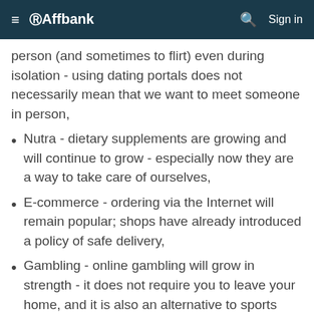≡ ©Affbank   🔍 Sign in
person (and sometimes to flirt) even during isolation - using dating portals does not necessarily mean that we want to meet someone in person,
Nutra - dietary supplements are growing and will continue to grow - especially now they are a way to take care of ourselves,
E-commerce - ordering via the Internet will remain popular; shops have already introduced a policy of safe delivery,
Gambling - online gambling will grow in strength - it does not require you to leave your home, and it is also an alternative to sports betting,
Entertainment - VOD, mobile applications, computer games - I have mentioned them before -